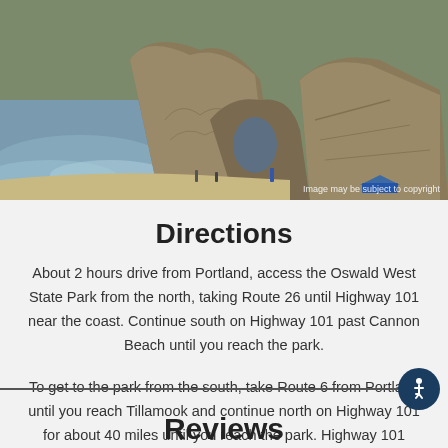[Figure (photo): Coastal beach scene with large rocky cliffs and people on the sand, ocean waves visible on the left side. Image may be subject to copyright.]
Directions
About 2 hours drive from Portland, access the Oswald West State Park from the north, taking Route 26 until Highway 101 near the coast. Continue south on Highway 101 past Cannon Beach until you reach the park.
To get to the park from the south, take Route 6 from Portland until you reach Tillamook and continue north on Highway 101 for about 40 miles until you reach the park. Highway 101 runs all the way through the park.
Reviews